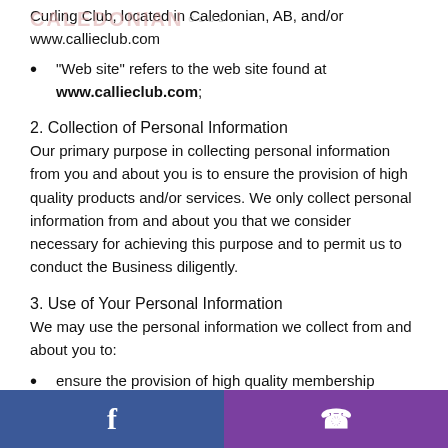Curling Club, located in Caledonian, AB, and/or www.callieclub.com
"Web site" refers to the web site found at www.callieclub.com;
2. Collection of Personal Information
Our primary purpose in collecting personal information from you and about you is to ensure the provision of high quality products and/or services. We only collect personal information from and about you that we consider necessary for achieving this purpose and to permit us to conduct the Business diligently.
3. Use of Your Personal Information
We may use the personal information we collect from and about you to:
ensure the provision of high quality membership